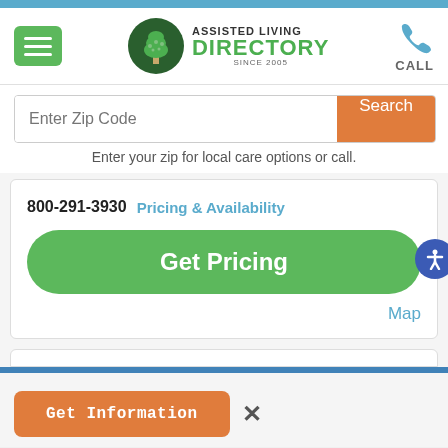[Figure (screenshot): Assisted Living Directory website screenshot showing navigation bar with hamburger menu, logo with tree icon, CALL button, zip code search bar with orange Search button, a white card with phone number 800-291-3930, Pricing & Availability text, green Get Pricing button, Map link, blue accessibility icon, partial second card, blue bar, and orange Get Information button with X close button.]
ASSISTED LIVING DIRECTORY SINCE 2005
Enter your zip for local care options or call.
800-291-3930  Pricing & Availability
Get Pricing
Map
Get Information